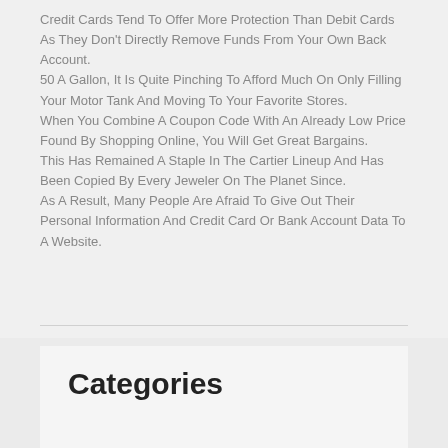Credit Cards Tend To Offer More Protection Than Debit Cards As They Don't Directly Remove Funds From Your Own Back Account.
50 A Gallon, It Is Quite Pinching To Afford Much On Only Filling Your Motor Tank And Moving To Your Favorite Stores.
When You Combine A Coupon Code With An Already Low Price Found By Shopping Online, You Will Get Great Bargains.
This Has Remained A Staple In The Cartier Lineup And Has Been Copied By Every Jeweler On The Planet Since.
As A Result, Many People Are Afraid To Give Out Their Personal Information And Credit Card Or Bank Account Data To A Website.
Categories